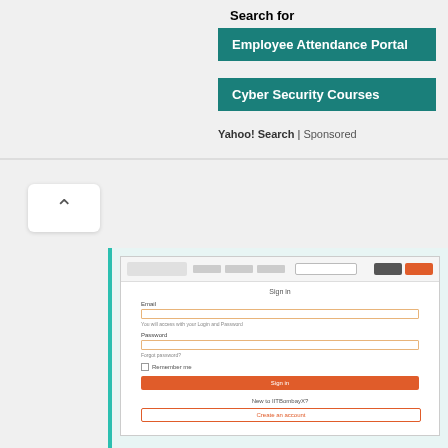Search for
Employee Attendance Portal
Cyber Security Courses
Yahoo! Search | Sponsored
[Figure (screenshot): IITBombayX login page screenshot showing email and password fields, Remember Me checkbox, Sign In button (orange), and Create an account button]
Login - IITBombayX
https://courses.iitbombayx.in/login
Sign In. Sign in here using your email address and password. If you do not yet